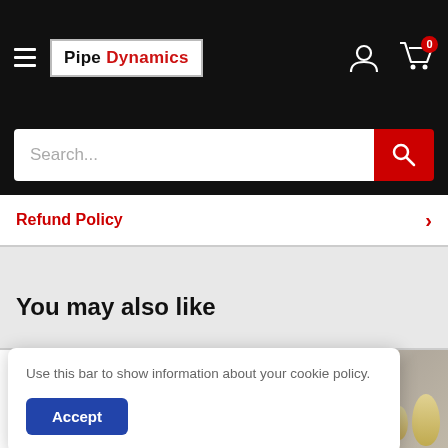[Figure (screenshot): Pipe Dynamics website header with black navigation bar, hamburger menu, logo, user and cart icons, and red search button]
Search...
Refund Policy
You may also like
[Figure (photo): Product photo showing pipe/exhaust components with dark background]
[Figure (photo): Product photo showing metallic pipe/hardware component]
Use this bar to show information about your cookie policy.
Accept